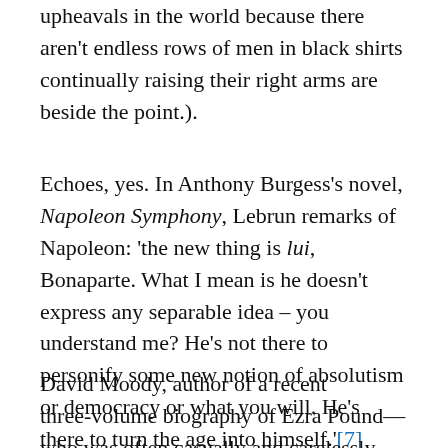upheavals in the world because there aren't endless rows of men in black shirts continually raising their right arms are beside the point.).
Echoes, yes. In Anthony Burgess's novel, Napoleon Symphony, Lebrun remarks of Napoleon: 'the new thing is lui, Bonaparte. What I mean is he doesn't express any separable idea – you understand me? He's not there to personify some new notion of absolutism or democracy or what you will. He's there to turn the age into himself.'[7]
David Moody, author of a recent three-volume biography of Ezra Pound—who was often casually and carelessly referred to as 'anti-democratic' or 'fascist'—remarked of Pound's